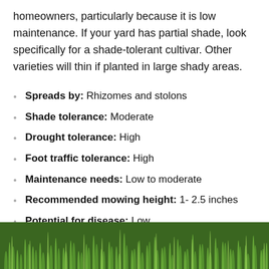homeowners, particularly because it is low maintenance. If your yard has partial shade, look specifically for a shade-tolerant cultivar. Other varieties will thin if planted in large shady areas.
Spreads by: Rhizomes and stolons
Shade tolerance: Moderate
Drought tolerance: High
Foot traffic tolerance: High
Maintenance needs: Low to moderate
Recommended mowing height: 1- 2.5 inches
Potential for disease: Low
[Figure (photo): Close-up photo of green grass blades from above]